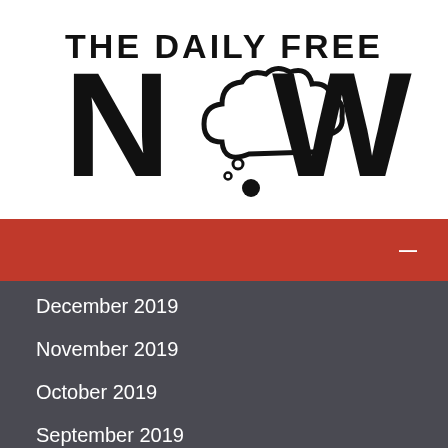[Figure (logo): The Daily Free NOW logo with cloud/thought bubble replacing the O]
[Figure (other): Red navigation bar with white dash/hamburger icon on the right]
December 2019
November 2019
October 2019
September 2019
June 2019
May 2019